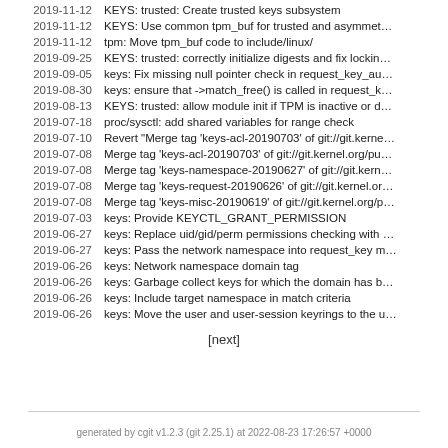| Date | Message |
| --- | --- |
| 2019-11-12 | KEYS: trusted: Create trusted keys subsystem |
| 2019-11-12 | KEYS: Use common tpm_buf for trusted and asymmet… |
| 2019-11-12 | tpm: Move tpm_buf code to include/linux/ |
| 2019-09-25 | KEYS: trusted: correctly initialize digests and fix locking… |
| 2019-09-05 | keys: Fix missing null pointer check in request_key_au… |
| 2019-08-30 | keys: ensure that ->match_free() is called in request_k… |
| 2019-08-13 | KEYS: trusted: allow module init if TPM is inactive or d… |
| 2019-07-18 | proc/sysctl: add shared variables for range check |
| 2019-07-10 | Revert "Merge tag 'keys-acl-20190703' of git://git.kerne… |
| 2019-07-08 | Merge tag 'keys-acl-20190703' of git://git.kernel.org/pu… |
| 2019-07-08 | Merge tag 'keys-namespace-20190627' of git://git.kern… |
| 2019-07-08 | Merge tag 'keys-request-20190626' of git://git.kernel.or… |
| 2019-07-08 | Merge tag 'keys-misc-20190619' of git://git.kernel.org/p… |
| 2019-07-03 | keys: Provide KEYCTL_GRANT_PERMISSION |
| 2019-06-27 | keys: Replace uid/gid/perm permissions checking with … |
| 2019-06-27 | keys: Pass the network namespace into request_key m… |
| 2019-06-26 | keys: Network namespace domain tag |
| 2019-06-26 | keys: Garbage collect keys for which the domain has b… |
| 2019-06-26 | keys: Include target namespace in match criteria |
| 2019-06-26 | keys: Move the user and user-session keyrings to the u… |
[next]
generated by cgit v1.2.3 (git 2.25.1) at 2022-08-23 17:26:57 +0000